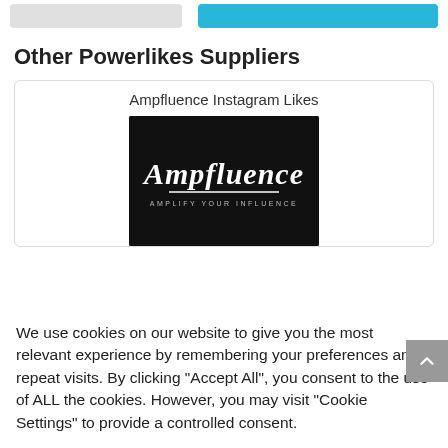[Figure (screenshot): Two partially visible UI buttons at the top: a gray button and a blue button]
Other Powerlikes Suppliers
Ampfluence Instagram Likes
[Figure (logo): Ampfluence logo on black background with cursive white text 'Ampfluence' and tagline 'AMPLIFY YOUR INFLUENCE']
We use cookies on our website to give you the most relevant experience by remembering your preferences and repeat visits. By clicking “Accept All”, you consent to the use of ALL the cookies. However, you may visit “Cookie Settings” to provide a controlled consent.
Cookie Settings
Accept All